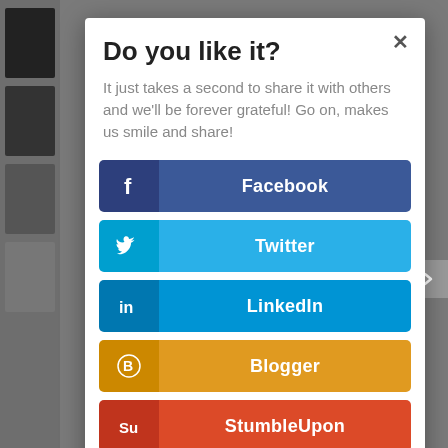Do you like it?
It just takes a second to share it with others and we'll be forever grateful! Go on, makes us smile and share!
Facebook
Twitter
LinkedIn
Blogger
StumbleUpon
...